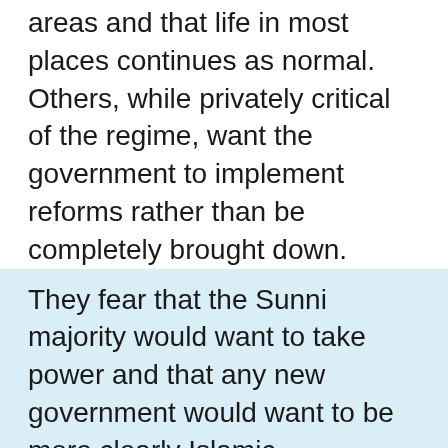areas and that life in most places continues as normal. Others, while privately critical of the regime, want the government to implement reforms rather than be completely brought down.
They fear that the Sunni majority would want to take power and that any new government would want to be more clearly Islamic.
Observers outside the country, like many Christians within the country, are fearful that if the Assad regime were to fall, Christians would inevitably be punished for their identification with the present government. Philip Jenkins, the American historian, is very fearful of what might be the fate of Syrian Christians. In an article in April entitled 'The Death Warrant of Eastern